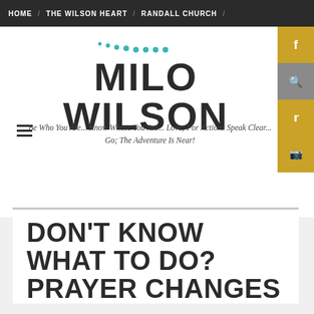HOME / THE WILSON HEART / RANDALL CHURCH /
[Figure (illustration): Decorative teal dot pattern arranged in a scattered arc above the site title]
MILO WILSON
Be Who You Are... Know Whose You Are... Love; For Actions Speak Clear... Go; The Adventure Is Near!
DON'T KNOW WHAT TO DO? PRAYER CHANGES